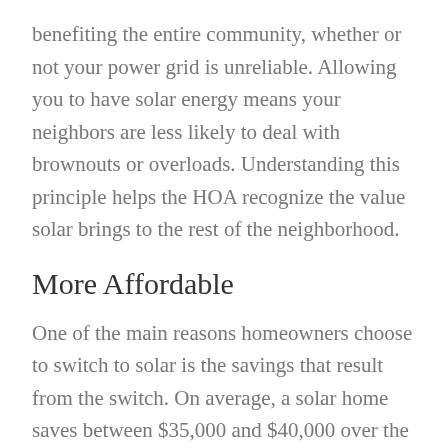benefiting the entire community, whether or not your power grid is unreliable. Allowing you to have solar energy means your neighbors are less likely to deal with brownouts or overloads. Understanding this principle helps the HOA recognize the value solar brings to the rest of the neighborhood.
More Affordable
One of the main reasons homeowners choose to switch to solar is the savings that result from the switch. On average, a solar home saves between $35,000 and $40,000 over the life of the system.